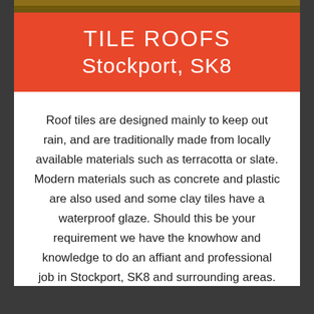TILE ROOFS
Stockport, SK8
Roof tiles are designed mainly to keep out rain, and are traditionally made from locally available materials such as terracotta or slate. Modern materials such as concrete and plastic are also used and some clay tiles have a waterproof glaze. Should this be your requirement we have the knowhow and knowledge to do an affiant and professional job in Stockport, SK8 and surrounding areas.